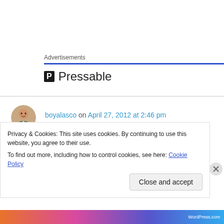Advertisements
[Figure (logo): Pressable logo with bold P icon and text 'Pressable']
boyalasco on April 27, 2012 at 2:46 pm
you have a good blog here! i aggree about old paradigm changing and i believe we all are in the process of changing it. thanks for sharing
Privacy & Cookies: This site uses cookies. By continuing to use this website, you agree to their use.
To find out more, including how to control cookies, see here: Cookie Policy